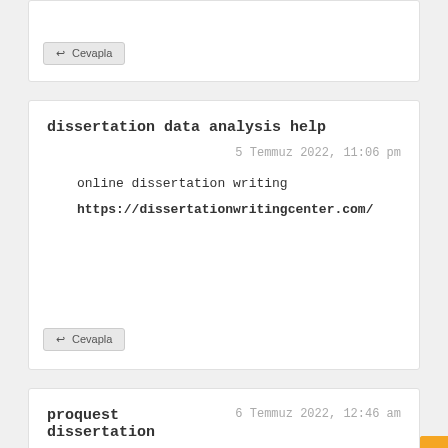Cevapla (reply button)
dissertation data analysis help
5 Temmuz 2022, 11:06 pm
online dissertation writing
https://dissertationwritingcenter.com/
Cevapla (reply button)
proquest dissertation
6 Temmuz 2022, 12:46 am
write a dissertation abstract
https://dissertationhelpexpert.com/